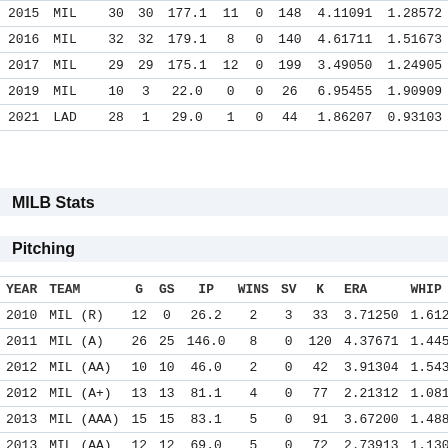| YEAR | TEAM | G | GS | IP | WINS | SV | K | ERA | WHIP |
| --- | --- | --- | --- | --- | --- | --- | --- | --- | --- |
| 2015 | MIL | 30 | 30 | 177.1 | 11 | 0 | 148 | 4.11091 | 1.28572 |
| 2016 | MIL | 32 | 32 | 179.1 | 8 | 0 | 140 | 4.61711 | 1.51673 |
| 2017 | MIL | 29 | 29 | 175.1 | 12 | 0 | 199 | 3.49050 | 1.24905 |
| 2019 | MIL | 10 | 3 | 22.0 | 0 | 0 | 26 | 6.95455 | 1.90909 |
| 2021 | LAD | 28 | 1 | 29.0 | 1 | 0 | 44 | 1.86207 | 0.93103 |
MILB Stats
Pitching
| YEAR | TEAM | G | GS | IP | WINS | SV | K | ERA | WHIP |
| --- | --- | --- | --- | --- | --- | --- | --- | --- | --- |
| 2010 | MIL (R) | 12 | 0 | 26.2 | 2 | 3 | 33 | 3.71250 | 1.61250 |
| 2011 | MIL (A) | 26 | 25 | 146.0 | 8 | 0 | 120 | 4.37671 | 1.44521 |
| 2012 | MIL (AA) | 10 | 10 | 46.0 | 2 | 0 | 42 | 3.91304 | 1.54340 |
| 2012 | MIL (A+) | 13 | 13 | 81.1 | 4 | 0 | 77 | 2.21312 | 1.08197 |
| 2013 | MIL (AAA) | 15 | 15 | 83.1 | 5 | 0 | 91 | 3.67200 | 1.48800 |
| 2013 | MIL (AA) | 12 | 12 | 69.0 | 5 | 0 | 72 | 2.73913 | 1.13043 |
| 2014 | MIL (AAA) | 17 | 16 | 111.0 | 10 | 0 | 114 | 1.45946 | 0.980 |